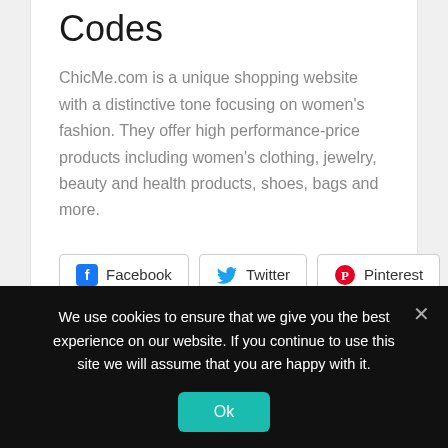Codes
ChicMe.com is a unique shopping website with a distinctive tone focusing on women's fashion. They offer high performance-price products including women's clothing, jewelry, beauty and health products, shoes, bags and more.
[Figure (other): Social sharing buttons for Facebook, Twitter, and Pinterest]
[Figure (other): Filter bar showing All with badge count 13]
We use cookies to ensure that we give you the best experience on our website. If you continue to use this site we will assume that you are happy with it.